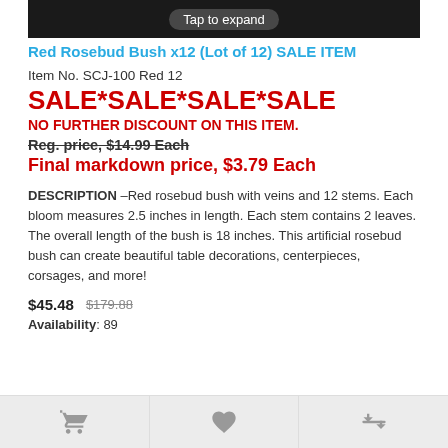[Figure (screenshot): Dark banner at top with 'Tap to expand' label on white/dark background]
Red Rosebud Bush x12 (Lot of 12) SALE ITEM
Item No. SCJ-100 Red 12
SALE*SALE*SALE*SALE
NO FURTHER DISCOUNT ON THIS ITEM.
Reg. price, $14.99 Each
Final markdown price, $3.79 Each
DESCRIPTION –Red rosebud bush with veins and 12 stems. Each bloom measures 2.5 inches in length. Each stem contains 2 leaves. The overall length of the bush is 18 inches. This artificial rosebud bush can create beautiful table decorations, centerpieces, corsages, and more!
$45.48   $179.88
Availability: 89